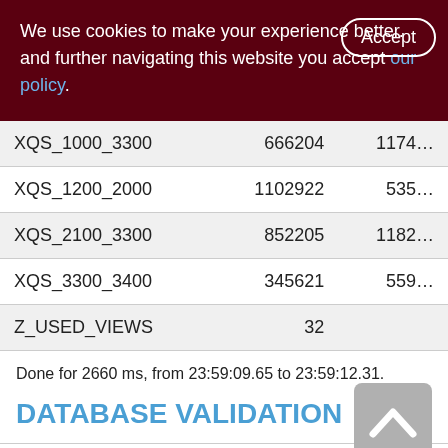We use cookies to make your experience better. By accepting and further navigating this website you accept our policy.
| Name | Col2 | Col3 |
| --- | --- | --- |
| XQS_1000_3300 | 666204 | 1174… |
| XQS_1200_2000 | 1102922 | 535… |
| XQS_2100_3300 | 852205 | 1182… |
| XQS_3300_3400 | 345621 | 559… |
| Z_USED_VIEWS | 32 |  |
Done for 2660 ms, from 23:59:09.65 to 23:59:12.31.
DATABASE VALIDATION
23:59:12.45 Validation started